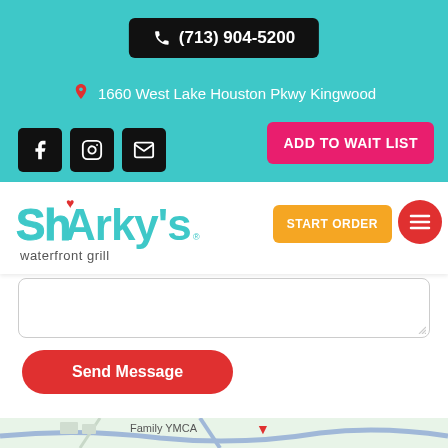(713) 904-5200
1660 West Lake Houston Pkwy Kingwood
[Figure (screenshot): Social media icons: Facebook, Instagram, Email in black square buttons]
ADD TO WAIT LIST
[Figure (logo): Sharky's waterfront grill logo in teal bubble letters with small red heart]
START ORDER
Send Message
[Figure (map): Google Maps partial view showing Family YMCA area in Kingwood]